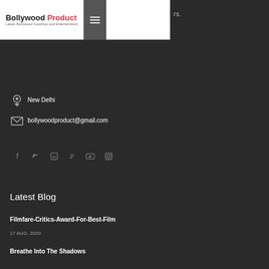Bollywood Product — Latest Bollywood Gupshup and Entertainment
rs.
📍 New Delhi
✉ bollywoodproduct@gmail.com
[Figure (infographic): Social media icons row: Facebook, Twitter, LinkedIn, Pinterest, YouTube, Instagram]
Latest Blog
Filmfare-Critics-Award-For-Best-Film
17 AUG, 2020
Breathe Into The Shadows